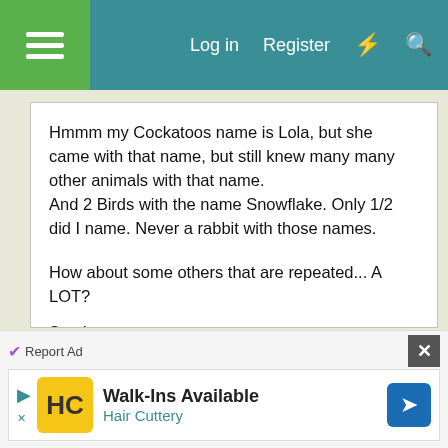Log in  Register
Hmmm my Cockatoos name is Lola, but she came with that name, but still knew many many other animals with that name.
And 2 Birds with the name Snowflake. Only 1/2 did I name. Never a rabbit with those names.

How about some others that are repeated... A LOT?
Smokey
Willow
Coco seems common
Pip (or a variation of that...)
Hopper or something with Hop?
[Figure (screenshot): Advertisement banner for Hair Cuttery salon: Walk-Ins Available, Hair Cuttery logo, navigation arrow icon]